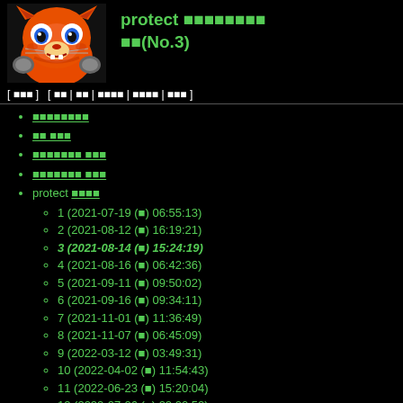[Figure (illustration): Cartoon character: angry orange cat/tiger-like creature with blue eyes, wearing armor, on black background]
protect ████████ ██(No.3)
[ ███ ]  [ ██ | ██ | ████ | ████ | ███ ]
████████
██ ███
███████ ███
███████ ███
protect ████
1 (2021-07-19 (█) 06:55:13)
2 (2021-08-12 (█) 16:19:21)
3 (2021-08-14 (█) 15:24:19)
4 (2021-08-16 (█) 06:42:36)
5 (2021-09-11 (█) 09:50:02)
6 (2021-09-16 (█) 09:34:11)
7 (2021-11-01 (█) 11:36:49)
8 (2021-11-07 (█) 06:45:09)
9 (2022-03-12 (█) 03:49:31)
10 (2022-04-02 (█) 11:54:43)
11 (2022-06-23 (█) 15:20:04)
12 (2022-07-06 (█) 22:00:52)